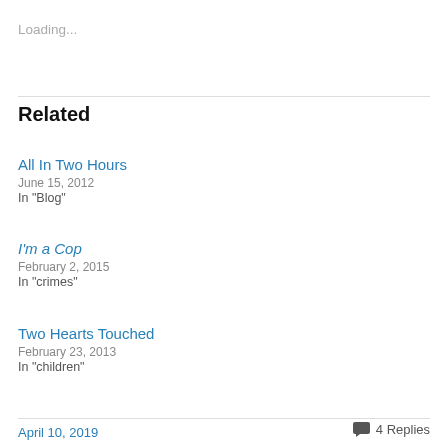Loading...
Related
All In Two Hours
June 15, 2012
In "Blog"
I'm a Cop
February 2, 2015
In "crimes"
Two Hearts Touched
February 23, 2013
In "children"
April 10, 2019    4 Replies